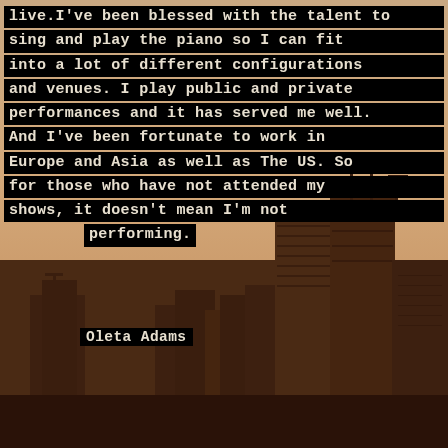[Figure (photo): Sepia-toned city skyline with tall buildings under a warm hazy sky. The lower portion shows dense urban skyscrapers with construction cranes visible on the right side.]
live.I've been blessed with the talent to sing and play the piano so I can fit into a lot of different configurations and venues. I play public and private performances and it has served me well. And I've been fortunate to work in Europe and Asia as well as The US. So for those who have not attended my shows, it doesn't mean I'm not performing.
Oleta Adams